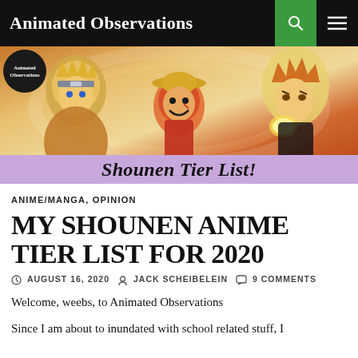Animated Observations
[Figure (illustration): Banner image showing anime characters (Naruto, Luffy, Ichigo) with a purple subtitle banner reading 'Shounen Tier List!']
ANIME/MANGA, OPINION
MY SHOUNEN ANIME TIER LIST FOR 2020
AUGUST 16, 2020  JACK SCHEIBELEIN  9 COMMENTS
Welcome, weebs, to Animated Observations
Since I am about to inundated with school related stuff, I